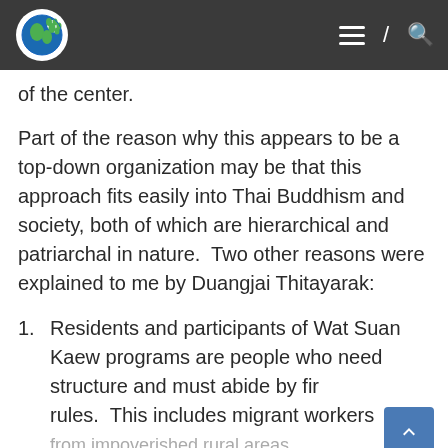[Logo] [hamburger menu] / [search icon]
of the center.
Part of the reason why this appears to be a top-down organization may be that this approach fits easily into Thai Buddhism and society, both of which are hierarchical and patriarchal in nature.  Two other reasons were explained to me by Duangjai Thitayarak:
Residents and participants of Wat Suan Kaew programs are people who need structure and must abide by firm rules.  This includes migrant workers from impoverished rural areas